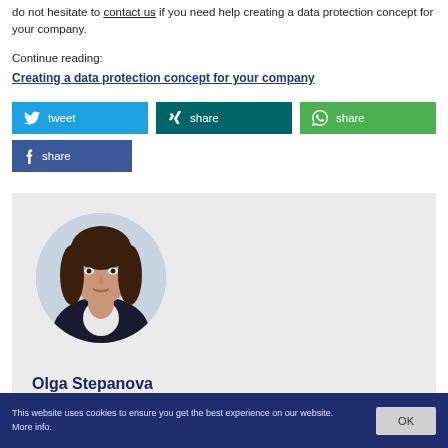... do not hesitate to contact us if you need help creating a data protection concept for your company.
Continue reading:
Creating a data protection concept for your company
[Figure (other): Social sharing buttons: tweet (Twitter/blue), share (XING/teal), share (WhatsApp/green), share (Facebook/blue)]
[Figure (photo): Circular profile photo of Olga Stepanova, a woman with dark hair wearing a dark blazer over a white shirt, professional headshot on light background.]
Olga Stepanova
This website uses cookies to ensure you get the best experience on our website. More info.